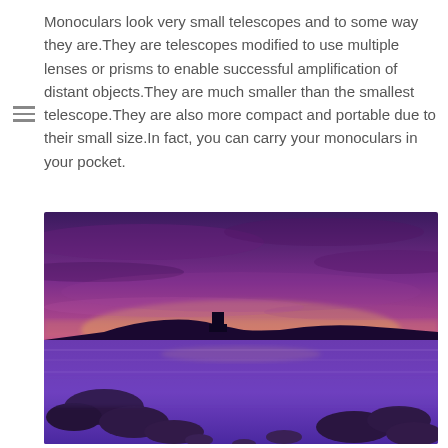Monoculars look very small telescopes and to some way they are.They are telescopes modified to use multiple lenses or prisms to enable successful amplification of distant objects.They are much smaller than the smallest telescope.They are also more compact and portable due to their small size.In fact, you can carry your monoculars in your pocket.
[Figure (photo): A dramatic purple-toned landscape photo showing a rocky coastline at sunset/dusk with vivid purple and pink skies, calm water reflecting the colors, and rocks in the foreground.]